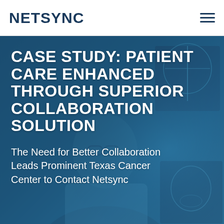NETSYNC
[Figure (photo): Doctor in white coat examining medical X-ray scans on a digital screen, blue-tinted professional healthcare setting with chest and skull X-rays visible]
CASE STUDY: PATIENT CARE ENHANCED THROUGH SUPERIOR COLLABORATION SOLUTION
The Need for Better Collaboration Leads Prominent Texas Cancer Center to Contact Netsync